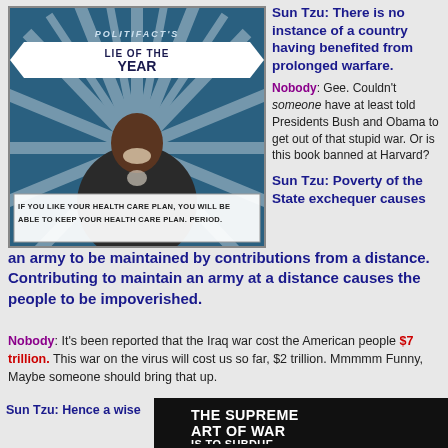[Figure (photo): PolitiFact's Lie of the Year graphic featuring Barack Obama with text 'IF YOU LIKE YOUR HEALTH CARE PLAN, YOU WILL BE ABLE TO KEEP YOUR HEALTH CARE PLAN. PERIOD.']
Sun Tzu: There is no instance of a country having benefited from prolonged warfare.
Nobody: Gee. Couldn't someone have at least told Presidents Bush and Obama to get out of that stupid war. Or is this book banned at Harvard?
Sun Tzu: Poverty of the State exchequer causes an army to be maintained by contributions from a distance. Contributing to maintain an army at a distance causes the people to be impoverished.
Nobody: It's been reported that the Iraq war cost the American people $7 trillion. This war on the virus will cost us so far, $2 trillion. Mmmmm Funny, Maybe someone should bring that up.
Sun Tzu: Hence a wise
[Figure (photo): Book cover: The Supreme Art of War Is To Subdue...]